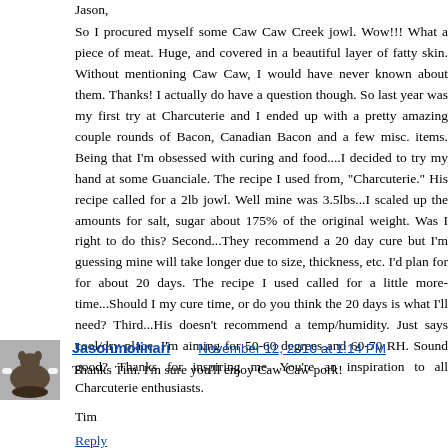Jason,
So I procured myself some Caw Caw Creek jowl. Wow!!! What a piece of meat. Huge, and covered in a beautiful layer of fatty skin. Without mentioning Caw Caw, I would have never known about them. Thanks! I actually do have a question though. So last year was my first try at Charcuterie and I ended up with a pretty amazing couple rounds of Bacon, Canadian Bacon and a few misc. items. Being that I'm obsessed with curing and food....I decided to try my hand at some Guanciale. The recipe I used from, "Charcuterie." His recipe called for a 2lb jowl. Well mine was 3.5lbs...I scaled up the amounts for salt, sugar about 175% of the original weight. Was I right to do this? Second...They recommend a 20 day cure but I'm guessing mine will take longer due to size, thickness, etc. I'd plan for for about 20 days. The recipe I used called for a little more time...Should I my cure time, or do you think the 20 days is what I'll need? Third...His doesn't recommend a temp/humidity. Just says cool/dry place. I'm aiming for 50-60 degrees and 60-70 RH. Sound good? Thanks for inspiring me. You're an inspiration to all Charcuterie enthusiasts.

Tim
Reply
Jasonmolinari   November 12, 2010 at 1:14 PM
Thanks Tim. I'm sure you'll enjoy Caw Caw pork!